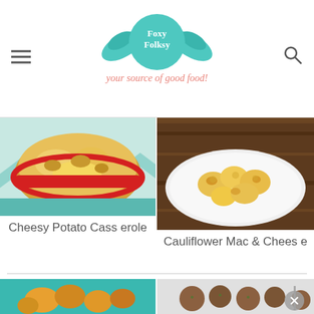Foxy Folksy - your source of good food!
[Figure (photo): Cheesy potato casserole in a red baking dish on a teal patterned cloth]
[Figure (photo): Cauliflower mac and cheese pieces on a white plate on dark wood surface]
Cheesy Potato Casserole
Cauliflower Mac & Cheese
[Figure (photo): Potato and chicken dish in a teal bowl]
[Figure (photo): Roasted mushrooms in a metal tray with a fork]